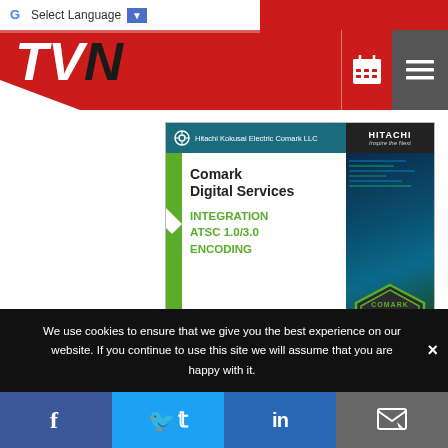[Figure (screenshot): Website header with TVN logo on red background, Google Translate bar at top, calendar and menu icons on right]
[Figure (illustration): Hitachi Kokusai Electric Comark LLC advertisement for Comark Digital Services showing Integration, ATSC 1.0/3.0, Encoding, and CDS badge logo]
We use cookies to ensure that we give you the best experience on our website. If you continue to use this site we will assume that you are happy with it.
[Figure (screenshot): Social media share bar with Facebook, Twitter, LinkedIn, and Email buttons at bottom of page]